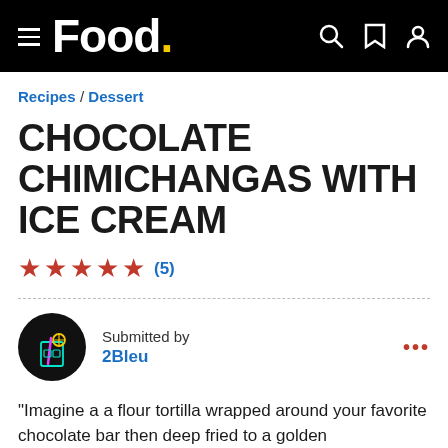Food.
Recipes / Dessert
CHOCOLATE CHIMICHANGAS WITH ICE CREAM
★★★★★ (5)
Submitted by
2Bleu
"Imagine a a flour tortilla wrapped around your favorite chocolate bar then deep fried to a golden